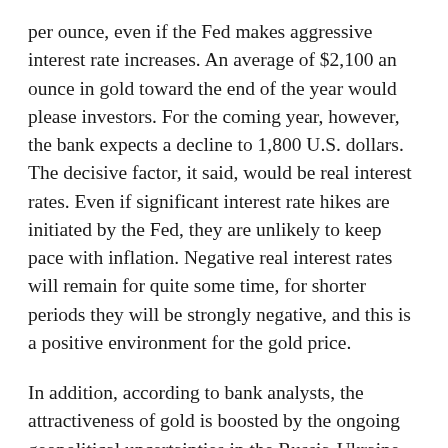per ounce, even if the Fed makes aggressive interest rate increases. An average of $2,100 an ounce in gold toward the end of the year would please investors. For the coming year, however, the bank expects a decline to 1,800 U.S. dollars. The decisive factor, it said, would be real interest rates. Even if significant interest rate hikes are initiated by the Fed, they are unlikely to keep pace with inflation. Negative real interest rates will remain for quite some time, for shorter periods they will be strongly negative, and this is a positive environment for the gold price.
In addition, according to bank analysts, the attractiveness of gold is boosted by the ongoing geopolitical uncertainties in the Russia-Ukraine war. Add to that the stock market volatility, which should also play into the hands of the gold price, as there is investment demand. The fact that the gold price is not yet quoted higher is perhaps only a question of time, because sometimes the movements in the markets are